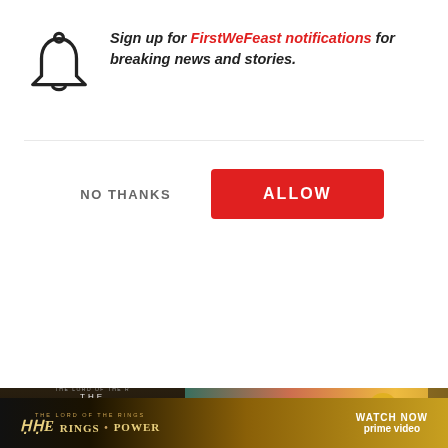[Figure (screenshot): Browser notification permission popup dialog with bell icon, text asking to sign up for FirstWeFeast notifications, and two buttons: NO THANKS and ALLOW]
Sign up for FirstWeFeast notifications for breaking news and stories.
NO THANKS
ALLOW
[Figure (screenshot): Website background showing Lord of the Rings: Rings of Power Prime Video book cover on left, and an article about Visual Artist Nashid Chroma with his photo on right]
Visual Artist Nashid Chroma Is Making Art That Blossoms | Northern Clutch
[Figure (screenshot): Bottom advertisement banner for The Lord of the Rings: The Rings of Power on Prime Video with gold/dark styling and WATCH NOW text]